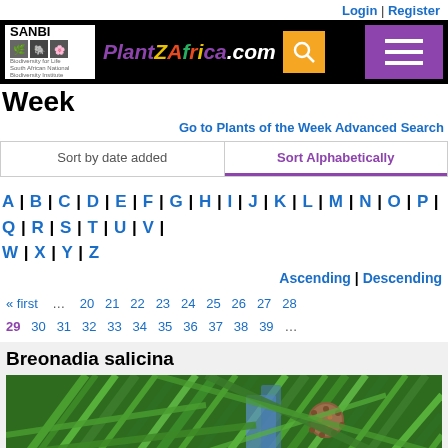Login | Register
[Figure (screenshot): PlantZAfrica.com website navigation bar with SANBI logo, PlantZAfrica.com colorful logo, search button, and purple hamburger menu]
Week
Go to Plants of the Week Advanced Search
Sort by date added | Sort Alphabetically
A | B | C | D | E | F | G | H | I | J | K | L | M | N | O | P | Q | R | S | T | U | V | W | X | Y | Z
Ascending | Descending
« first … 20 21 22 23 24 25 26 27 28 29 30 31 32 33 34 35 36 37 38 39 …
Breonadia salicina
[Figure (photo): Close-up photo of Breonadia salicina plant showing long narrow green leaves and a round brown seed head/flower]